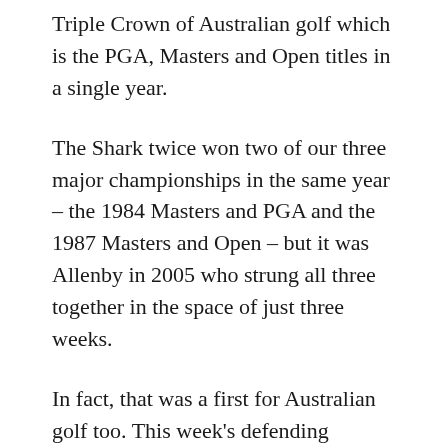Triple Crown of Australian golf which is the PGA, Masters and Open titles in a single year.
The Shark twice won two of our three major championships in the same year – the 1984 Masters and PGA and the 1987 Masters and Open – but it was Allenby in 2005 who strung all three together in the space of just three weeks.
In fact, that was a first for Australian golf too. This week's defending champion Peter Senior won the Johnnie Walker Classic, PGA and Masters in 1989 but that was over a four-week period with the South Australian Open slotted among those big three.